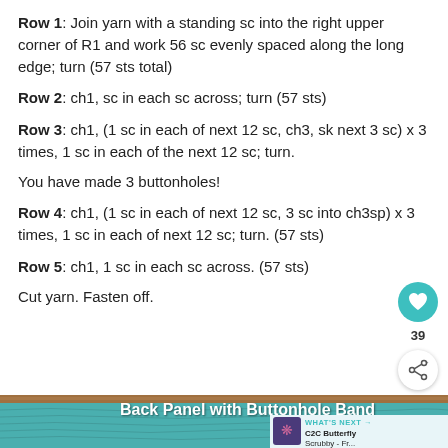Row 1: Join yarn with a standing sc into the right upper corner of R1 and work 56 sc evenly spaced along the long edge; turn (57 sts total)
Row 2: ch1, sc in each sc across; turn (57 sts)
Row 3: ch1, (1 sc in each of next 12 sc, ch3, sk next 3 sc) x 3 times, 1 sc in each of the next 12 sc; turn.
You have made 3 buttonholes!
Row 4: ch1, (1 sc in each of next 12 sc, 3 sc into ch3sp) x 3 times, 1 sc in each of next 12 sc; turn. (57 sts)
Row 5: ch1, 1 sc in each sc across. (57 sts)
Cut yarn. Fasten off.
[Figure (photo): Crocheted teal/turquoise back panel with buttonhole band, shown on a wooden surface. Title overlay: Back Panel with Buttonhole Band. What's Next panel: C2C Butterfly Scrubby - Fr...]